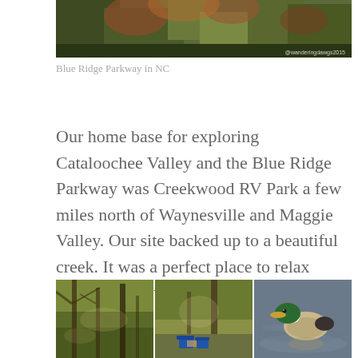[Figure (photo): Autumn foliage and trees along the Blue Ridge Parkway in NC, with a watermark '@wanderingdawgs2015' in the lower right]
Blue Ridge Parkway in NC
Our home base for exploring Cataloochee Valley and the Blue Ridge Parkway was Creekwood RV Park a few miles north of Waynesville and Maggie Valley. Our site backed up to a beautiful creek. It was a perfect place to relax after a day of wandering.
[Figure (photo): Three side-by-side photos: a wooded creek area, a campsite with blue chairs, and a mallard duck on water]